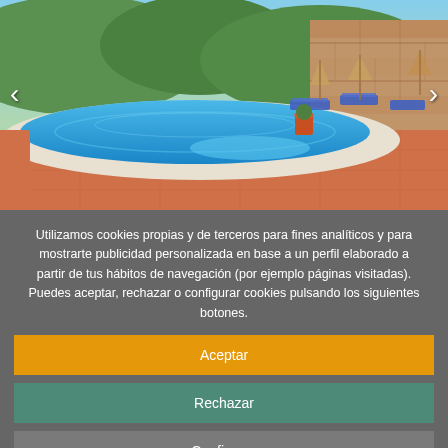[Figure (photo): Outdoor swimming pool with terracotta tile surround, stone wall in background, blue lounge chairs, umbrellas, and lush green hills. Navigation arrows (< >) on left and right sides.]
Utilizamos cookies propias y de terceros para fines analíticos y para mostrarte publicidad personalizada en base a un perfil elaborado a partir de tus hábitos de navegación (por ejemplo páginas visitadas). Puedes aceptar, rechazar o configurar cookies pulsando los siguientes botones.
Aceptar
Rechazar
Configurar
Mas informacion